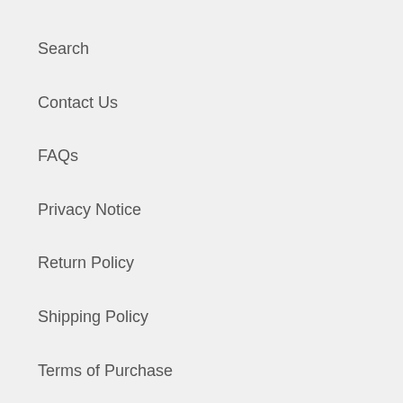Search
Contact Us
FAQs
Privacy Notice
Return Policy
Shipping Policy
Terms of Purchase
Terms of Use